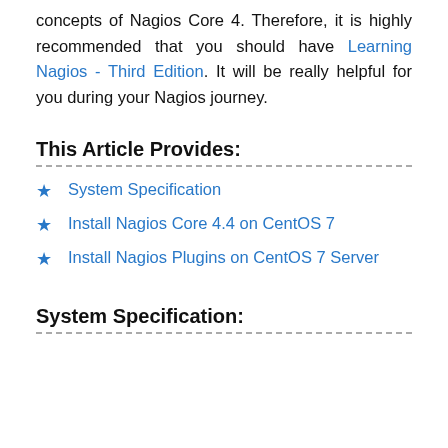concepts of Nagios Core 4. Therefore, it is highly recommended that you should have Learning Nagios - Third Edition. It will be really helpful for you during your Nagios journey.
This Article Provides:
System Specification
Install Nagios Core 4.4 on CentOS 7
Install Nagios Plugins on CentOS 7 Server
System Specification: